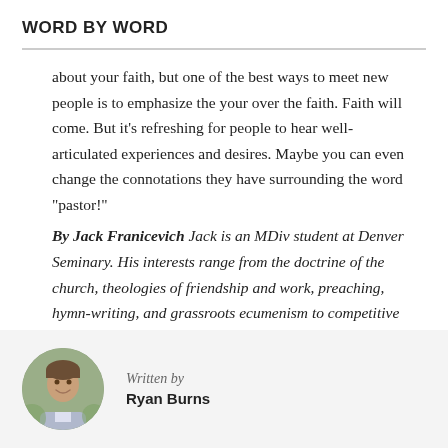WORD BY WORD
about your faith, but one of the best ways to meet new people is to emphasize the your over the faith. Faith will come. But it’s refreshing for people to hear well-articulated experiences and desires. Maybe you can even change the connotations they have surrounding the word “pastor!”
By Jack Franicevich Jack is an MDiv student at Denver Seminary. His interests range from the doctrine of the church, theologies of friendship and work, preaching, hymn-writing, and grassroots ecumenism to competitive table
[Figure (photo): Circular headshot photo of Ryan Burns, a man smiling outdoors with greenery in the background]
Written by
Ryan Burns